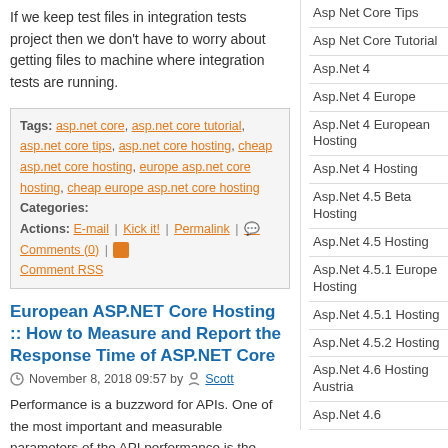If we keep test files in integration tests project then we don't have to worry about getting files to machine where integration tests are running.
Tags: asp.net core, asp.net core tutorial, asp.net core tips, asp.net core hosting, cheap asp.net core hosting, europe asp.net core hosting, cheap europe asp.net core hosting
Categories:
Actions: E-mail | Kick it! | Permalink | Comments (0) | Comment RSS
European ASP.NET Core Hosting :: How to Measure and Report the Response Time of ASP.NET Core
November 8, 2018 09:57 by Scott
Performance is a buzzword for APIs. One of the most important and measurable parameters of the API performance is the response time. In this article, we will understand how to add code to measure the response time of an API and then return the response time data to the end client.
What is the need for this?
So, let's take a moment to think why we would ever need such a feature to measure
Asp Net Core Tips
Asp Net Core Tutorial
Asp.Net 4
Asp.Net 4 Europe
Asp.Net 4 European Hosting
Asp.Net 4 Hosting
Asp.Net 4.5 Beta Hosting
Asp.Net 4.5 Hosting
Asp.Net 4.5.1 Europe Hosting
Asp.Net 4.5.1 Hosting
Asp.Net 4.5.2 Hosting
Asp.Net 4.6 Hosting Austria
Asp.Net 4.6